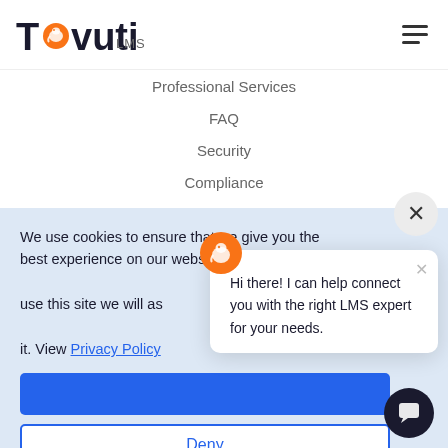[Figure (logo): Tovuti LMS logo with orange elephant icon and hamburger menu]
Professional Services
FAQ
Security
Compliance
We use cookies to ensure that we give you the best experience on our website. If you continue to use this site we will assume that you are happy with it. View Privacy Policy
Deny
Preferences
Hi there! I can help connect you with the right LMS expert for your needs.